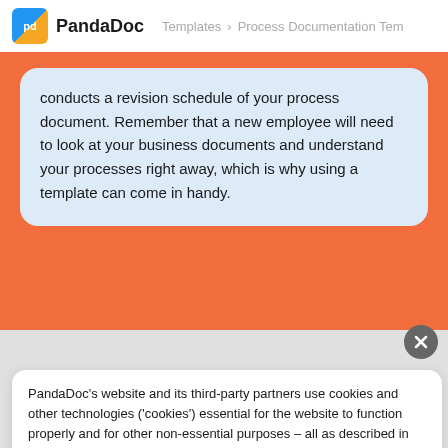PandaDoc  Templates > Process Documentation Tem
conducts a revision schedule of your process document. Remember that a new employee will need to look at your business documents and understand your processes right away, which is why using a template can come in handy.
PandaDoc's website and its third-party partners use cookies and other technologies ('cookies') essential for the website to function properly and for other non-essential purposes – all as described in our attached Cookie Policy. You can permit our use of cookies by clicking Accept. By remaining on this website you indicate your consent. Cookie Policy